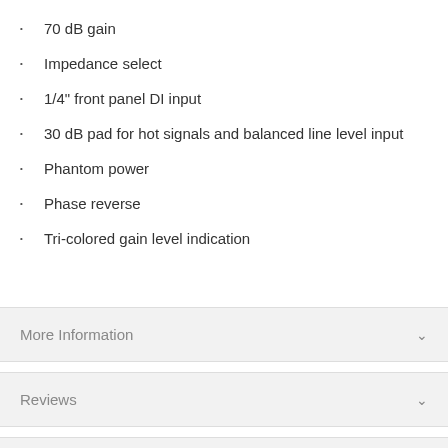70 dB gain
Impedance select
1/4" front panel DI input
30 dB pad for hot signals and balanced line level input
Phantom power
Phase reverse
Tri-colored gain level indication
More Information
Reviews
Pay by Finance